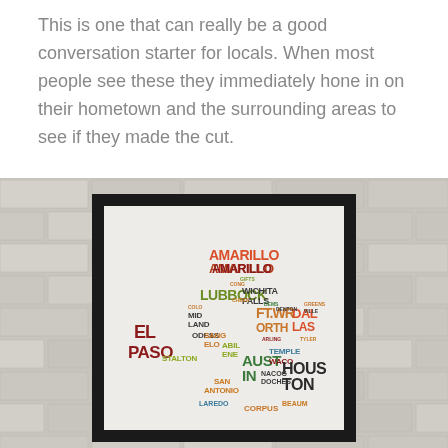This is one that can really be a good conversation starter for locals. When most people see these they immediately hone in on their hometown and the surrounding areas to see if they made the cut.
[Figure (photo): A framed art print showing the state of Texas as a typography map, with city names (Amarillo, Lubbock, Wichita Falls, El Paso, Ft. Worth, Dallas, Austin, Houston, Midland, Odessa, San Angelo, Temple, Waco, and others) arranged to form the shape of Texas in various colors (red, dark red, olive/green, teal, orange, brown). The frame is black and the background is white/cream. The frame is displayed against a white brick wall.]